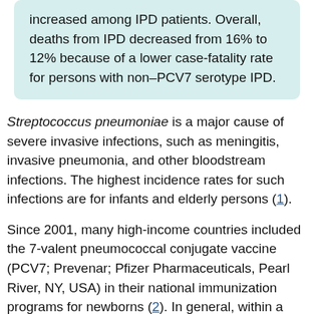increased among IPD patients. Overall, deaths from IPD decreased from 16% to 12% because of a lower case-fatality rate for persons with non–PCV7 serotype IPD.
Streptococcus pneumoniae is a major cause of severe invasive infections, such as meningitis, invasive pneumonia, and other bloodstream infections. The highest incidence rates for such infections are for infants and elderly persons (1).
Since 2001, many high-income countries included the 7-valent pneumococcal conjugate vaccine (PCV7; Prevenar; Pfizer Pharmaceuticals, Pearl River, NY, USA) in their national immunization programs for newborns (2). In general, within a few years after the introduction of PCV7, the age group targeted for vaccination and unvaccinated adults showed a dramatic decrease in invasive pneumococcal disease